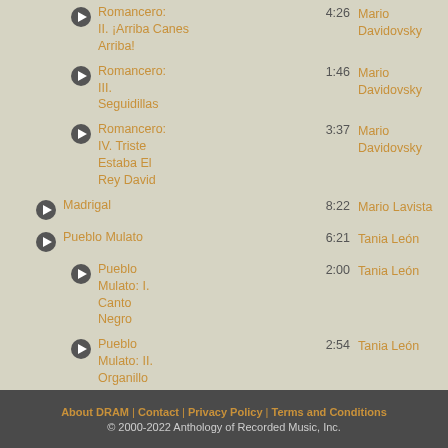Romancero: II. ¡Arriba Canes Arriba! | 4:26 | Mario Davidovsky
Romancero: III. Seguidillas | 1:46 | Mario Davidovsky
Romancero: IV. Triste Estaba El Rey David | 3:37 | Mario Davidovsky
Madrigal | 8:22 | Mario Lavista
Pueblo Mulato | 6:21 | Tania León
Pueblo Mulato: I. Canto Negro | 2:00 | Tania León
Pueblo Mulato: II. Organillo | 2:54 | Tania León
Pueblo Mulato: III. Quirino | 1:26 | Tania León
About DRAM | Contact | Privacy Policy | Terms and Conditions
© 2000-2022 Anthology of Recorded Music, Inc.